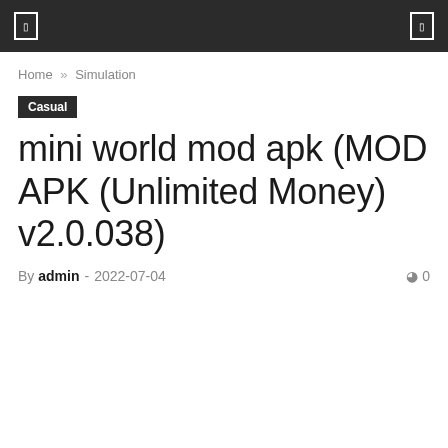☰  ☐
Home » Simulation
Casual
mini world mod apk (MOD APK (Unlimited Money) v2.0.038)
By admin - 2022-07-04   0